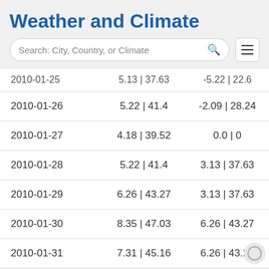Weather and Climate
| Date | Max Temp | Min Temp |
| --- | --- | --- |
| 2010-01-25 | 5.13 | 37.63 | -5.22 | 22.6 |
| 2010-01-26 | 5.22 | 41.4 | -2.09 | 28.24 |
| 2010-01-27 | 4.18 | 39.52 | 0.0 | 0 |
| 2010-01-28 | 5.22 | 41.4 | 3.13 | 37.63 |
| 2010-01-29 | 6.26 | 43.27 | 3.13 | 37.63 |
| 2010-01-30 | 8.35 | 47.03 | 6.26 | 43.27 |
| 2010-01-31 | 7.31 | 45.16 | 6.26 | 43.27 |